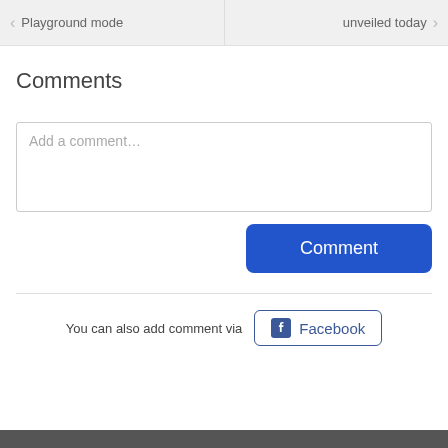[Figure (screenshot): Navigation bar with two panels: left showing 'Playground mode' with back arrow, right showing 'unveiled today' with forward arrow, separated by a vertical divider on a light gray background.]
Comments
Add a comment…
Comment
You can also add comment via
Facebook